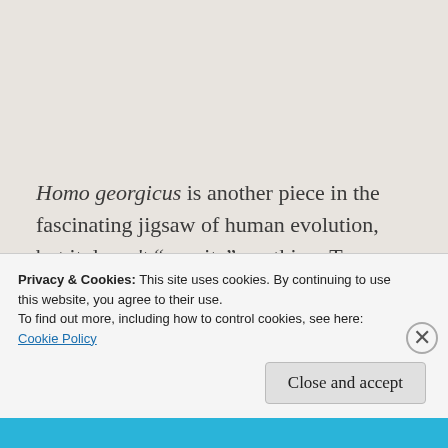Homo georgicus is another piece in the fascinating jigsaw of human evolution, but it doesn't "rewrite" anything. To suggest otherwise is quite simply bad science and to present a 7 year old article in Science as if it were a new discovery is even worse journalism.
Privacy & Cookies: This site uses cookies. By continuing to use this website, you agree to their use.
To find out more, including how to control cookies, see here:
Cookie Policy
Close and accept